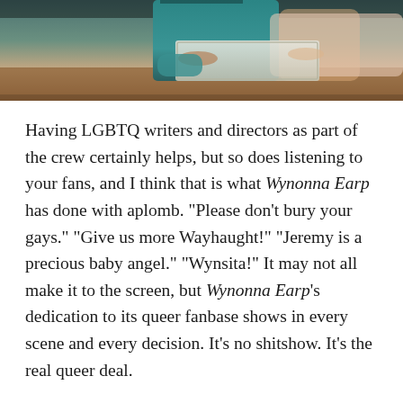[Figure (photo): A photograph showing two people at a table, one in a teal/green top, with what appears to be a container between them. The image is cropped showing the upper portion of the scene with a warm-toned background.]
Having LGBTQ writers and directors as part of the crew certainly helps, but so does listening to your fans, and I think that is what Wynonna Earp has done with aplomb. "Please don't bury your gays." "Give us more Wayhaught!" "Jeremy is a precious baby angel." "Wynsita!" It may not all make it to the screen, but Wynonna Earp's dedication to its queer fanbase shows in every scene and every decision. It's no shitshow. It's the real queer deal.